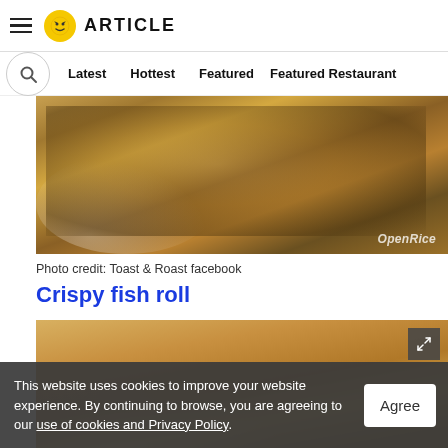ARTICLE
Latest   Hottest   Featured   Featured Restaurant
[Figure (photo): Close-up photo of crispy fried food items on a white plate with blue rim, with OpenRice watermark in bottom right corner]
Photo credit: Toast & Roast facebook
Crispy fish roll
[Figure (photo): Close-up photo of triangular crispy fried fish rolls on a white plate, with a second plate of noodles visible in background]
This website uses cookies to improve your website experience. By continuing to browse, you are agreeing to our use of cookies and Privacy Policy.